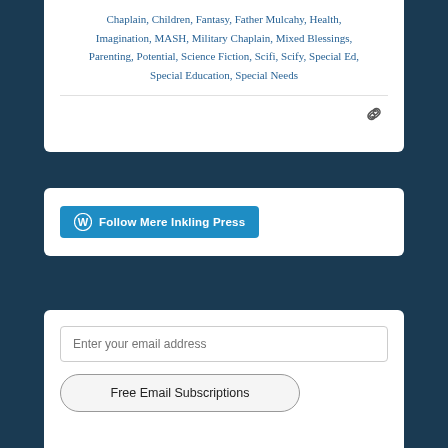Chaplain, Children, Fantasy, Father Mulcahy, Health, Imagination, MASH, Military Chaplain, Mixed Blessings, Parenting, Potential, Science Fiction, Scifi, Scify, Special Ed, Special Education, Special Needs
[Figure (other): Link/chain icon at bottom right of top card]
[Figure (other): WordPress Follow button with WP logo: 'Follow Mere Inkling Press']
Enter your email address
Free Email Subscriptions
Join 2,063 other followers